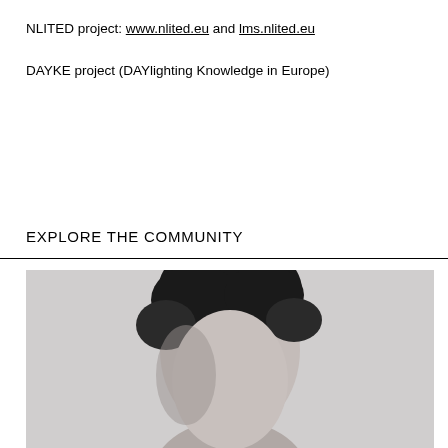NLITED project: www.nlited.eu and lms.nlited.eu
DAYKE project (DAYlighting Knowledge in Europe)
EXPLORE THE COMMUNITY
[Figure (photo): Black and white portrait photograph of a person, cropped at forehead level, showing dark hair and partial face against a light gray background]